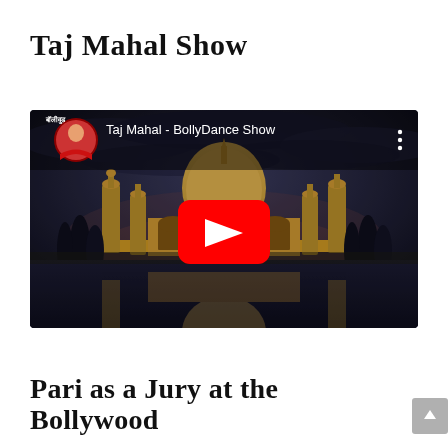Taj Mahal Show
[Figure (screenshot): YouTube video thumbnail showing 'Taj Mahal - BollyDance Show' with an image of the Taj Mahal at dusk and a red YouTube play button in the center. A circular avatar of a woman in red traditional attire appears in the top-left corner of the video player.]
Pari as a Jury at the Bollywood